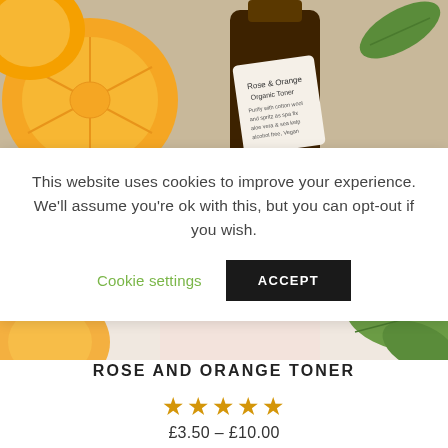[Figure (photo): Rose and Orange Organic Toner product bottle (dark amber glass) next to sliced oranges on a wooden surface, top half visible]
This website uses cookies to improve your experience. We'll assume you're ok with this, but you can opt-out if you wish.
Cookie settings
ACCEPT
[Figure (photo): Bottom portion of product image showing orange slices and green leaves in soft focus background]
ROSE AND ORANGE TONER
★★★★★
£3.50 – £10.00